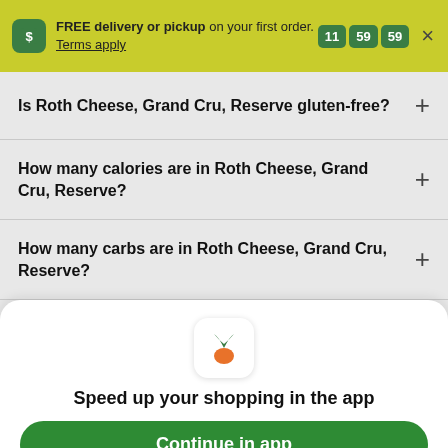FREE delivery or pickup on your first order. Terms apply. 11:59:59
Is Roth Cheese, Grand Cru, Reserve gluten-free?
How many calories are in Roth Cheese, Grand Cru, Reserve?
How many carbs are in Roth Cheese, Grand Cru, Reserve?
[Figure (logo): Instacart carrot app icon — green leaves with orange carrot body on white rounded square]
Speed up your shopping in the app
Continue in app
Continue in browser